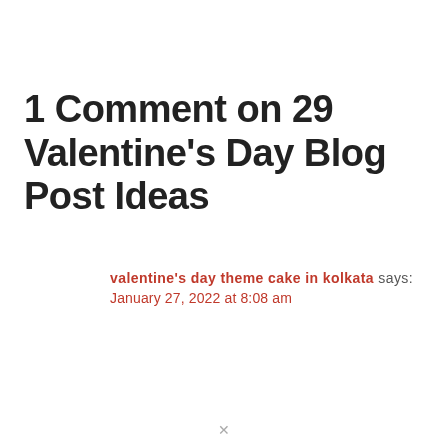1 Comment on 29 Valentine's Day Blog Post Ideas
valentine's day theme cake in kolkata says: January 27, 2022 at 8:08 am